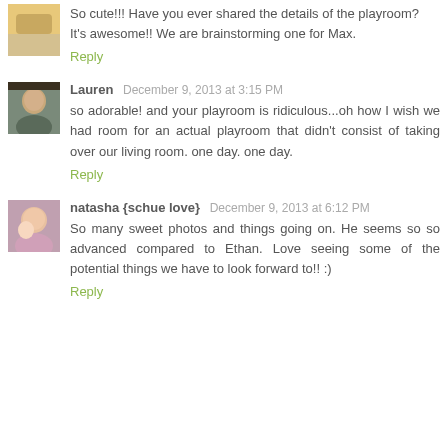[Figure (photo): Small avatar thumbnail at top left, partial view, warm yellowish tones]
So cute!!! Have you ever shared the details of the playroom? It's awesome!! We are brainstorming one for Max.
Reply
[Figure (photo): Avatar of Lauren, woman with dark hair]
Lauren  December 9, 2013 at 3:15 PM
so adorable! and your playroom is ridiculous...oh how I wish we had room for an actual playroom that didn't consist of taking over our living room. one day. one day.
Reply
[Figure (photo): Avatar of natasha, woman with baby]
natasha {schue love}  December 9, 2013 at 6:12 PM
So many sweet photos and things going on. He seems so so advanced compared to Ethan. Love seeing some of the potential things we have to look forward to!! :)
Reply